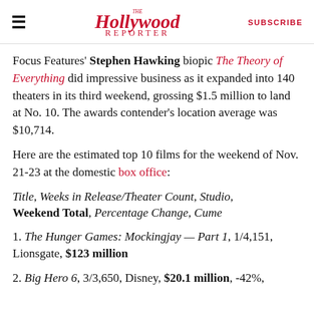The Hollywood Reporter | SUBSCRIBE
Focus Features' Stephen Hawking biopic The Theory of Everything did impressive business as it expanded into 140 theaters in its third weekend, grossing $1.5 million to land at No. 10. The awards contender's location average was $10,714.
Here are the estimated top 10 films for the weekend of Nov. 21-23 at the domestic box office:
Title, Weeks in Release/Theater Count, Studio, Weekend Total, Percentage Change, Cume
1. The Hunger Games: Mockingjay — Part 1, 1/4,151, Lionsgate, $123 million
2. Big Hero 6, 3/3,650, Disney, $20.1 million, -42%,